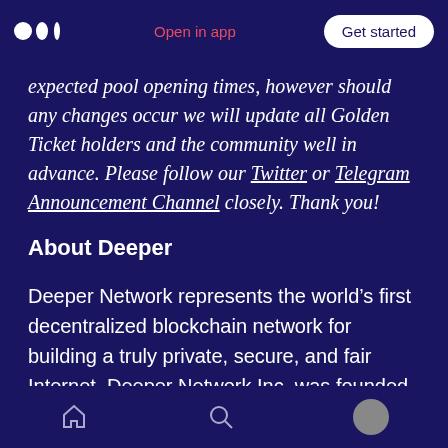Medium logo | Open in app | Get started
expected pool opening times, however should any changes occur we will update all Golden Ticket holders and the community well in advance. Please follow our Twitter or Telegram Announcement Channel closely. Thank you!
About Deeper
Deeper Network represents the world’s first decentralized blockchain network for building a truly private, secure, and fair Internet. Deeper Network Inc. was founded in 2018 with the vision of leveraging blockchain technology to empower
Home | Search | Profile